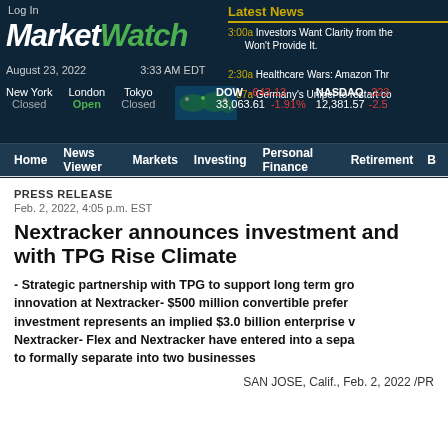Log In
[Figure (logo): MarketWatch logo in white and green italic bold text on dark background]
August 23, 2022   3:33 AM EDT
New York Closed   London Open   Tokyo Closed
DOW -643.13   33,063.61 -1.91%   NASDAQ -323   12,381.57 -2.5
Latest News
3:00a Investors Want Clarity from the Won't Provide It.
2:30a Healthcare Wars: Amazon Thr
2:07a Germany's Uniper to restart co
Home   News Viewer   Markets   Investing   Personal Finance   Retirement   B
PRESS RELEASE
Feb. 2, 2022, 4:05 p.m. EST
Nextracker announces investment and with TPG Rise Climate
- Strategic partnership with TPG to support long term gro innovation at Nextracker- $500 million convertible prefer investment represents an implied $3.0 billion enterprise v Nextracker- Flex and Nextracker have entered into a sepa to formally separate into two businesses
SAN JOSE, Calif., Feb. 2, 2022 /PR